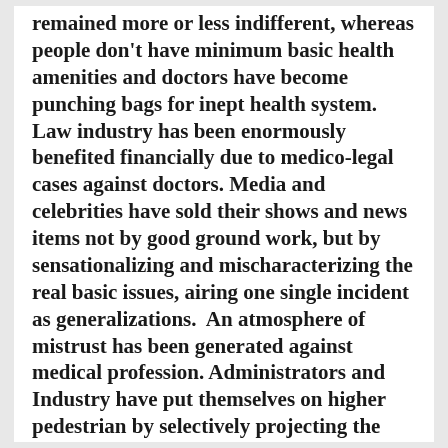remained more or less indifferent, whereas people don't have minimum basic health amenities and doctors have become punching bags for inept health system.  Law industry has been enormously benefited financially due to medico-legal cases against doctors. Media and celebrities have sold their shows and news items not by good ground work, but by sensationalizing and mischaracterizing the real basic issues, airing one single incident as generalizations.  An atmosphere of mistrust has been generated against medical profession. Administrators and Industry have put themselves on higher pedestrian by selectively projecting the genuine failures and mistakes of doctors.  Local goons have blackmailed doctors over